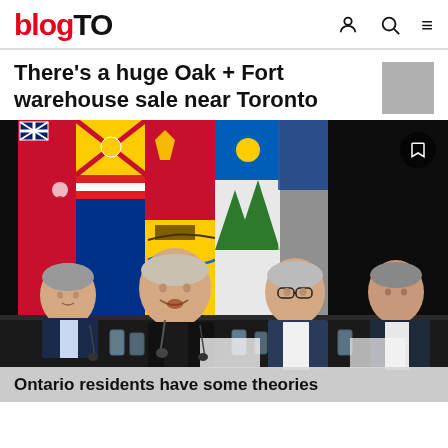blogTO
There's a huge Oak + Fort warehouse sale near Toronto
[Figure (photo): Press conference scene with four men seated at a table with microphones and water glasses, Canadian provincial flags in the background including Ontario, British Columbia, New Brunswick, and others. Dark background.]
Ontario residents have some theories